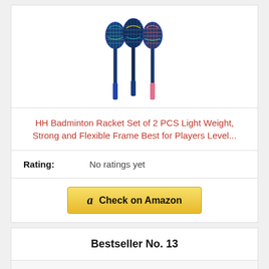[Figure (photo): Product image of badminton rackets with colorful blue, teal, and pink designs, shown from top angle]
HH Badminton Racket Set of 2 PCS Light Weight, Strong and Flexible Frame Best for Players Level...
Rating: No ratings yet
Check on Amazon
Bestseller No. 13